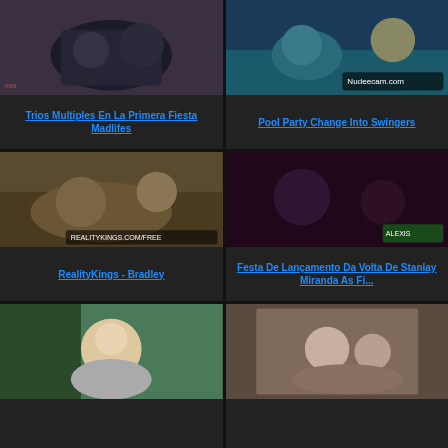[Figure (screenshot): Video thumbnail showing people at a party]
Trios Multiples En La Primera Fiesta Madlifes
[Figure (screenshot): Video thumbnail showing people in a pool with Nudeecam.com watermark]
Pool Party Change Into Swingers
[Figure (screenshot): Video thumbnail with realitykings.com/free watermark]
RealityKings - Bradley
[Figure (screenshot): Video thumbnail showing women at a nightclub]
Festa De Lançamento Da Volta De Stanlay Miranda As Fi...
[Figure (screenshot): Video thumbnail showing a blonde woman outdoors with palm trees]
[Figure (screenshot): Video thumbnail showing a couple on a bed]